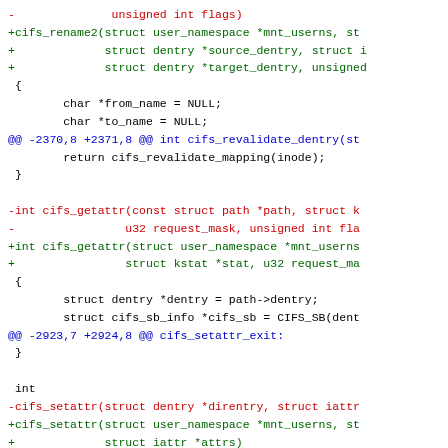[Figure (screenshot): A git diff / code patch showing changes to CIFS kernel module functions including cifs_rename2, cifs_getattr, and cifs_setattr, with red lines indicating removed code and green lines indicating added code, and blue lines for diff context headers.]